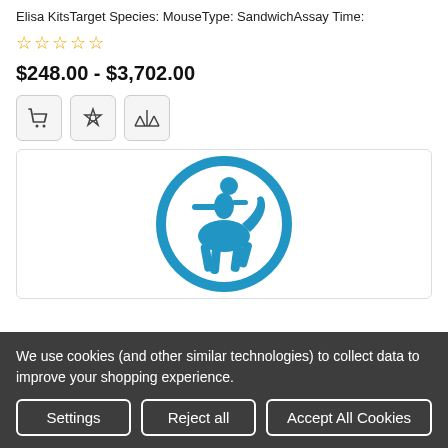Elisa KitsTarget Species: MouseType: SandwichAssay Time:
[Figure (other): Star rating: 0 out of 5 stars (5 empty stars)]
$248.00 - $3,702.00
[Figure (other): Three icon buttons: shopping cart, share/customize, and compare/scale icons]
[Figure (logo): Blue circular logo with a centaur/human-animal figure in the center on white background]
We use cookies (and other similar technologies) to collect data to improve your shopping experience.
Settings | Reject all | Accept All Cookies